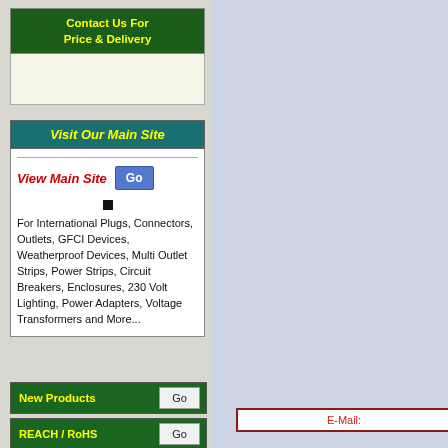Contact Us For Price & Delivery
Visit Our Main Site
View Main Site  Go
For International Plugs, Connectors, Outlets, GFCI Devices, Weatherproof Devices, Multi Outlet Strips, Power Strips, Circuit Breakers, Enclosures, 230 Volt Lighting, Power Adapters, Voltage Transformers and More...
New Products  Go
REACH / RoHS  Go
E-Mail: